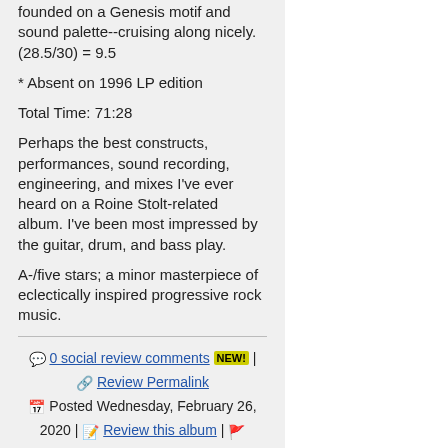founded on a Genesis motif and sound palette--cruising along nicely. (28.5/30) = 9.5
* Absent on 1996 LP edition
Total Time: 71:28
Perhaps the best constructs, performances, sound recording, engineering, and mixes I've ever heard on a Roine Stolt-related album. I've been most impressed by the guitar, drum, and bass play.
A-/five stars; a minor masterpiece of eclectically inspired progressive rock music.
0 social review comments NEW! | Review Permalink | Posted Wednesday, February 26, 2020 | Review this album | Report (Review #2338651)